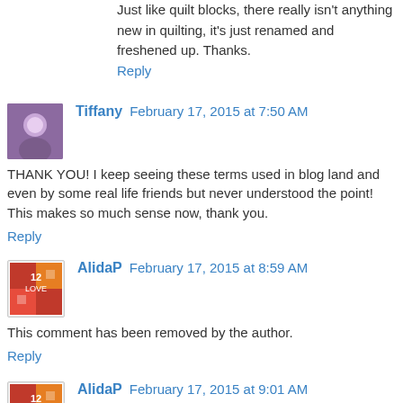Just like quilt blocks, there really isn't anything new in quilting, it's just renamed and freshened up. Thanks.
Reply
Tiffany  February 17, 2015 at 7:50 AM
THANK YOU! I keep seeing these terms used in blog land and even by some real life friends but never understood the point! This makes so much sense now, thank you.
Reply
AlidaP  February 17, 2015 at 8:59 AM
This comment has been removed by the author.
Reply
AlidaP  February 17, 2015 at 9:01 AM
This comment has been removed by the author.
Reply